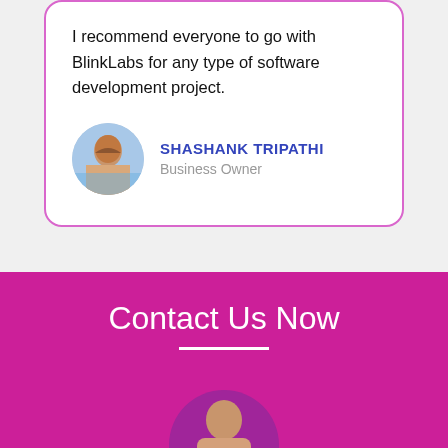I recommend everyone to go with BlinkLabs for any type of software development project.
SHASHANK TRIPATHI
Business Owner
[Figure (photo): Circular avatar photo of Shashank Tripathi, a person near water]
Contact Us Now
[Figure (illustration): Partial circular illustration at the bottom of the magenta section showing a person's head/shoulders]